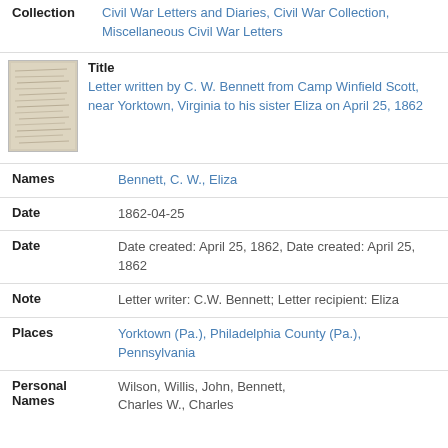Collection: Civil War Letters and Diaries, Civil War Collection, Miscellaneous Civil War Letters
[Figure (photo): Thumbnail image of a handwritten letter page, aged paper with script writing]
Title: Letter written by C. W. Bennett from Camp Winfield Scott, near Yorktown, Virginia to his sister Eliza on April 25, 1862
Names: Bennett, C. W., Eliza
Date: 1862-04-25
Date: Date created: April 25, 1862, Date created: April 25, 1862
Note: Letter writer: C.W. Bennett; Letter recipient: Eliza
Places: Yorktown (Pa.), Philadelphia County (Pa.), Pennsylvania
Personal Names: Wilson, Willis, John, Bennett, Charles W., Charles